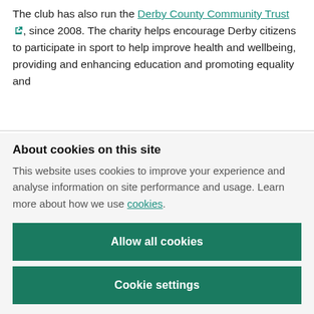The club has also run the Derby County Community Trust, since 2008. The charity helps encourage Derby citizens to participate in sport to help improve health and wellbeing, providing and enhancing education and promoting equality and
About cookies on this site
This website uses cookies to improve your experience and analyse information on site performance and usage. Learn more about how we use cookies.
Allow all cookies
Cookie settings